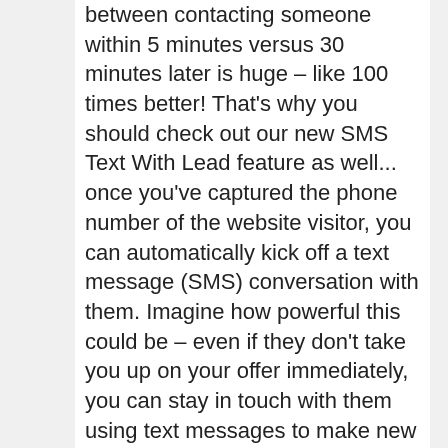between contacting someone within 5 minutes versus 30 minutes later is huge – like 100 times better! That's why you should check out our new SMS Text With Lead feature as well... once you've captured the phone number of the website visitor, you can automatically kick off a text message (SMS) conversation with them. Imagine how powerful this could be – even if they don't take you up on your offer immediately, you can stay in touch with them using text messages to make new offers, provide links to great content, and build your credibility. Just this alone could be a game changer to make your website even more effective. Strike when the iron's hot! CLICK HERE https://talkwithwebtraffic.com to learn more about everything Talk With Web Traffic can do for your business – you'll be amazed. Thanks and keep up the great work! Eric PS: Talk With Web Traffic offers a FREE 14 days